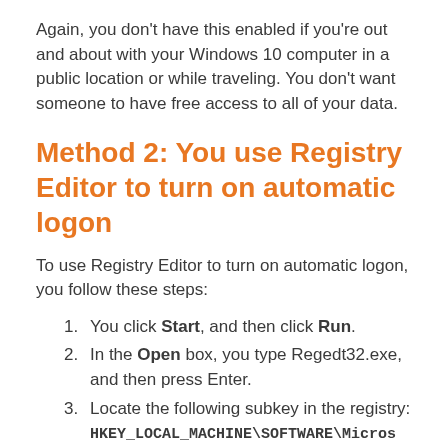Again, you don't have this enabled if you're out and about with your Windows 10 computer in a public location or while traveling. You don't want someone to have free access to all of your data.
Method 2: You use Registry Editor to turn on automatic logon
To use Registry Editor to turn on automatic logon, you follow these steps:
You click Start, and then click Run.
In the Open box, you type Regedt32.exe, and then press Enter.
Locate the following subkey in the registry:
HKEY_LOCAL_MACHINE\SOFTWARE\Micros...